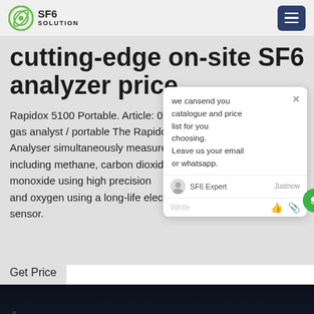SF6 SOLUTION
cutting-edge on-site SF6 analyzer price
Rapidox 5100 Portable. Article: 000 gas analyst / portable The Rapidox Analyser simultaneously measures es including methane, carbon dioxide, monoxide using high precision s, and oxygen using a long-life electro sensor.
Get Price
[Figure (photo): Dark photograph of electrical transmission towers/pylons with glowing wire structures against a night sky, industrial equipment visible on the left]